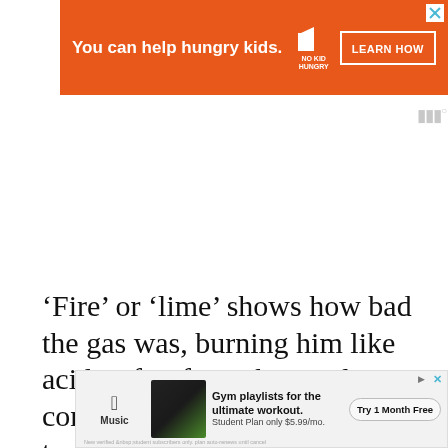[Figure (other): Orange advertisement banner: 'You can help hungry kids.' with No Kid Hungry logo and LEARN HOW button]
[Figure (other): Apple Music advertisement banner: Gym playlists for the ultimate workout. Student Plan only $5.99/mo. Try 1 Month Free]
'Fire' or 'lime' shows how bad the gas was, burning him like acid or fire from the inside, comparing it to the most torturous thing people can imagine